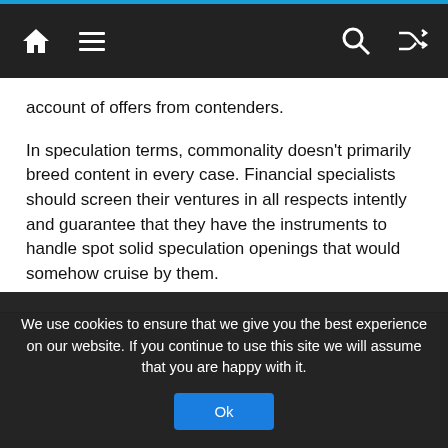Navigation bar with home, menu, search, and shuffle icons
account of offers from contenders.
In speculation terms, commonality doesn't primarily breed content in every case. Financial specialists should screen their ventures in all respects intently and guarantee that they have the instruments to handle spot solid speculation openings that would somehow cruise by them.
We use cookies to ensure that we give you the best experience on our website. If you continue to use this site we will assume that you are happy with it.